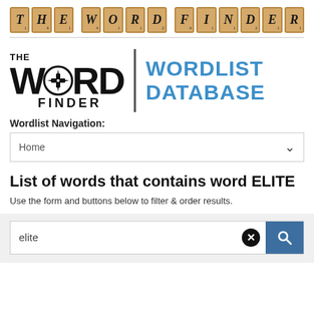[Figure (logo): THE WORD FINDER scrabble tile banner with letters T, H, E (space) W, O, R, D (space) F, I, N, D, E, R on tan scrabble tiles]
[Figure (logo): The Word Finder logo on left with large bold W, circle icon, RD and FINDER text, vertical divider, WORDLIST DATABASE in blue bold text on right]
Wordlist Navigation:
Home
List of words that contains word ELITE
Use the form and buttons below to filter & order results.
elite